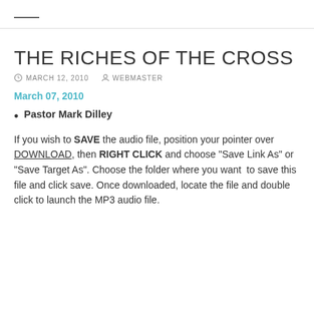—
THE RICHES OF THE CROSS
MARCH 12, 2010   WEBMASTER
March 07, 2010
Pastor Mark Dilley
If you wish to SAVE the audio file, position your pointer over DOWNLOAD, then RIGHT CLICK and choose "Save Link As" or "Save Target As". Choose the folder where you want to save this file and click save. Once downloaded, locate the file and double click to launch the MP3 audio file.